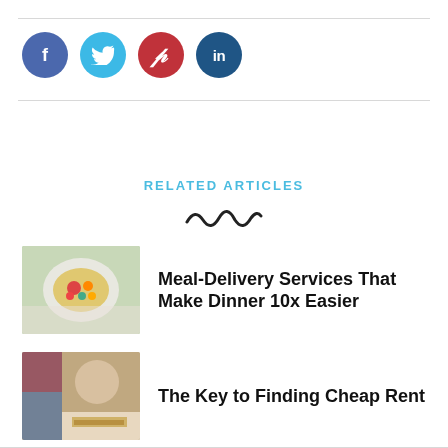[Figure (infographic): Four social media share buttons as colored circles: Facebook (purple-blue), Twitter (light blue), Pinterest (red with script p), LinkedIn (dark blue with 'in')]
RELATED ARTICLES
[Figure (illustration): Decorative squiggle/wave divider line]
[Figure (photo): Food photo showing a salad bowl with colorful vegetables on a white table]
Meal-Delivery Services That Make Dinner 10x Easier
[Figure (photo): Person holding money/cash, seated at a table, blurred bookshelf background]
The Key to Finding Cheap Rent